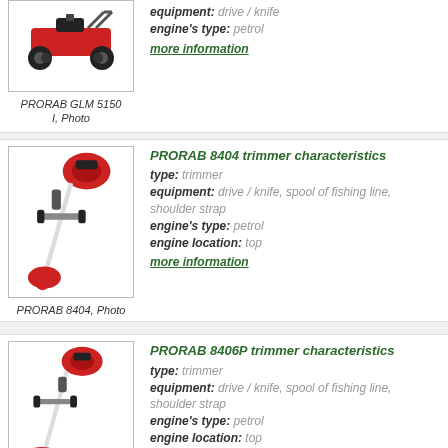[Figure (photo): PRORAB GLM 5150 I lawn mower photo (partial, top cut off)]
PRORAB GLM 5150 I, Photo
equipment: drive / knife
engine's type: petrol
more information
[Figure (photo): PRORAB 8404 trimmer photo]
PRORAB 8404, Photo
PRORAB 8404 trimmer characteristics
type: trimmer
equipment: drive / knife, spool of fishing line, shoulder strap
engine's type: petrol
engine location: top
more information
[Figure (photo): PRORAB 8406P trimmer photo]
PRORAB 8406P, Photo
PRORAB 8406P trimmer characteristics
type: trimmer
equipment: drive / knife, spool of fishing line, shoulder strap
engine's type: petrol
engine location: top
more information